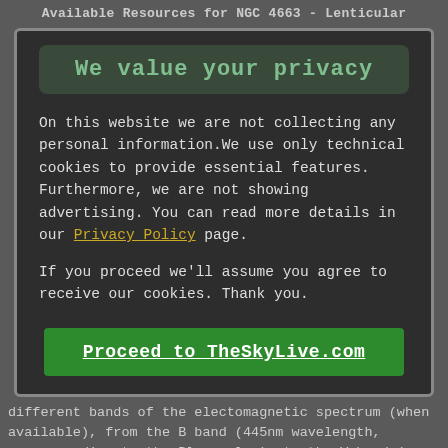Available Resources for NGC 4663 - Lenticular
We value your privacy
On this website we are not collecting any personal information.We use only technical cookies to provide essential features. Furthermore, we are not showing advertising. You can read more details in our Privacy Policy page.
If you proceed we'll assume you agree to receive our cookies. Thank you.
Proceed to TheSkyLive.com
different bands of the electomagnetic spectrum (when available), from the B band (445nm wavelength, corresponding to the Blue color), to the V band ( 551nm